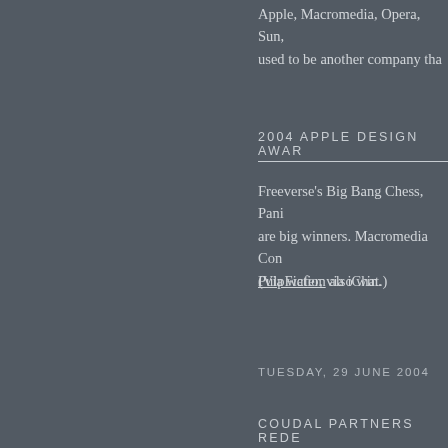Apple, Macromedia, Opera, Sun, used to be another company tha
2004 APPLE DESIGN AWAR
Freeverse's Big Bang Chess, Pani are big winners. Macromedia Con PulpFiction also win.
(Via wafer, via iChat.)
TUESDAY, 29 JUNE 2004
COUDAL PARTNERS REDE